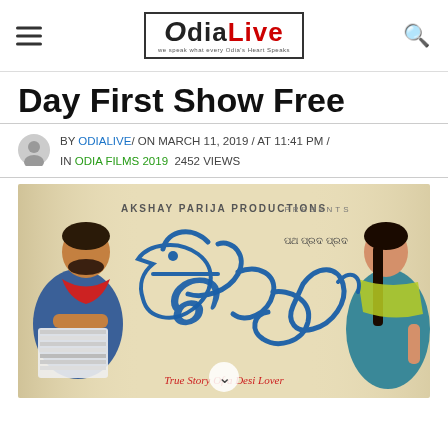OdiaLive — we speak what every Odia's Heart Speaks
Day First Show Free
BY ODIALIVE / ON MARCH 11, 2019 / AT 11:41 PM / IN ODIA FILMS 2019  2452 VIEWS
[Figure (photo): Movie poster for an Odia film presented by Akshay Parija Productions. Shows a young man in a blue tank top holding newspapers on the left, a young woman in a teal salwar on the right, with large stylized Odia script title in blue in the center. Text reads 'AKSHAY PARIJA PRODUCTIONS PRESENTS' at top and 'True Story Of a Desi Lover' at bottom.]